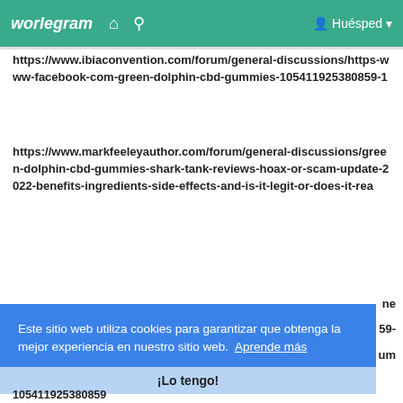worlegram  🏠  🔍  Huésped
https://www.ibiaconvention.com/forum/general-discussions/https-www-facebook-com-green-dolphin-cbd-gummies-105411925380859-1
https://www.markfeeleyauthor.com/forum/general-discussions/green-dolphin-cbd-gummies-shark-tank-reviews-hoax-or-scam-update-2022-benefits-ingredients-side-effects-and-is-it-legit-or-does-it-rea
Este sitio web utiliza cookies para garantizar que obtenga la mejor experiencia en nuestro sitio web.  Aprende más
¡Lo tengo!
105411925380859